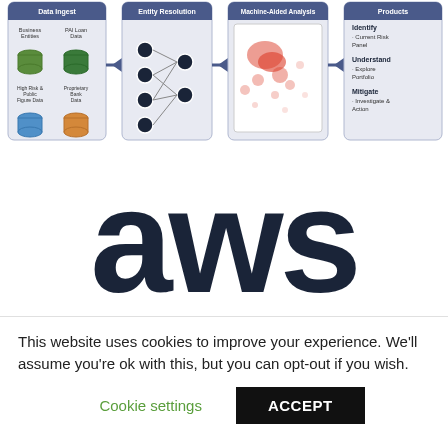[Figure (flowchart): A workflow diagram showing four stages: Data Ingest (Business Entities, PAI Loan Data, High Risk & Public Figure Data, Proprietary Bank Data as database icons), Entity Resolution (neural network node diagram), Machine-Aided Analysis (scatter plot heatmap), and Products (Identify: Current Risk Panel; Understand: Explore Portfolio; Mitigate: Investigate & Action). Arrows connect each stage.]
[Figure (logo): AWS logo in large dark navy/charcoal text on white background]
This website uses cookies to improve your experience. We'll assume you're ok with this, but you can opt-out if you wish.
Cookie settings   ACCEPT